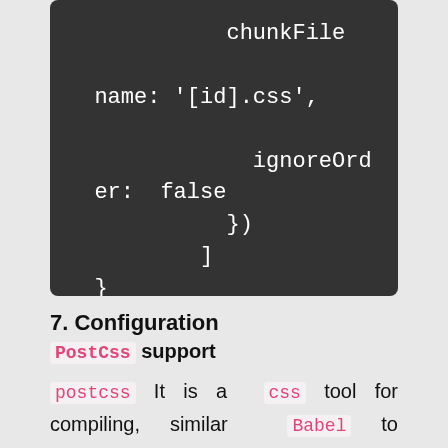[Figure (screenshot): Dark-themed code block showing JavaScript/config snippet with chunkFile, name: '[id].css', ignoreOrder: false, }), ], }]
7. Configuration PostCss support
postcss It is a css tool for compiling, similar Babel to javascript the processing of pairs , the commonly used